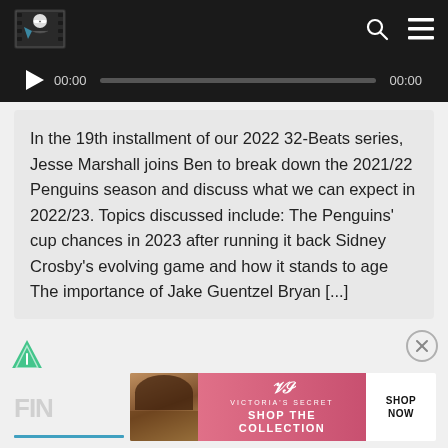[Figure (screenshot): Website navigation bar with logo (stylized figure with sunglasses), search icon, and hamburger menu icon on dark background]
[Figure (screenshot): Audio player bar showing play button, 00:00 timestamp, progress bar, and 00:00 end timestamp on dark background]
In the 19th installment of our 2022 32-Beats series, Jesse Marshall joins Ben to break down the 2021/22 Penguins season and discuss what we can expect in 2022/23. Topics discussed include: The Penguins' cup chances in 2023 after running it back Sidney Crosby's evolving game and how it stands to age The importance of Jake Guentzel Bryan [...]
[Figure (logo): Green triangular/arrow icon (Feather or similar app icon) floating on left side]
[Figure (screenshot): Close/X button circle on right side]
[Figure (screenshot): Victoria's Secret advertisement banner with model photo, VS logo, SHOP THE COLLECTION text, and SHOP NOW button]